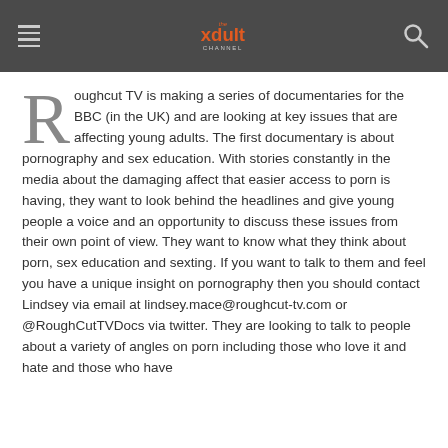The xdult Channel
Roughcut TV is making a series of documentaries for the BBC (in the UK) and are looking at key issues that are affecting young adults. The first documentary is about pornography and sex education. With stories constantly in the media about the damaging affect that easier access to porn is having, they want to look behind the headlines and give young people a voice and an opportunity to discuss these issues from their own point of view. They want to know what they think about porn, sex education and sexting. If you want to talk to them and feel you have a unique insight on pornography then you should contact Lindsey via email at lindsey.mace@roughcut-tv.com or @RoughCutTVDocs via twitter. They are looking to talk to people about a variety of angles on porn including those who love it and hate and those who have